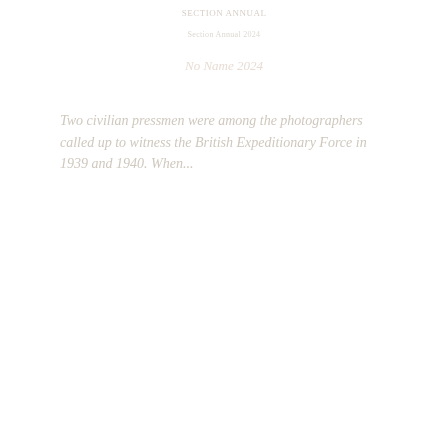SECTION ANNUAL
Section Annual 2024
No Name 2024
Two civilian pressmen were among the photographers called up to witness the British Expeditionary Force in 1939 and 1940. When...